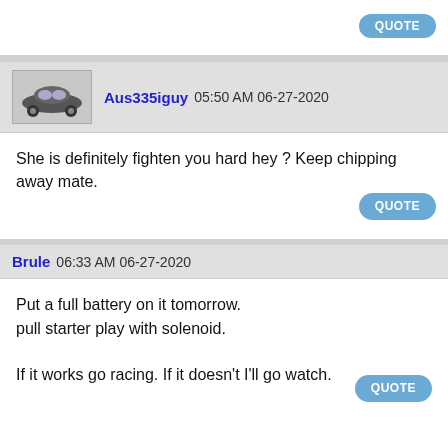[Figure (screenshot): Forum thread screenshot with two posts and quote buttons]
QUOTE
Aus335iguy 05:50 AM 06-27-2020
She is definitely fighten you hard hey ? Keep chipping away mate.
QUOTE
Brule 06:33 AM 06-27-2020
Put a full battery on it tomorrow.
pull starter play with solenoid.

If it works go racing. If it doesn't I'll go watch.
QUOTE